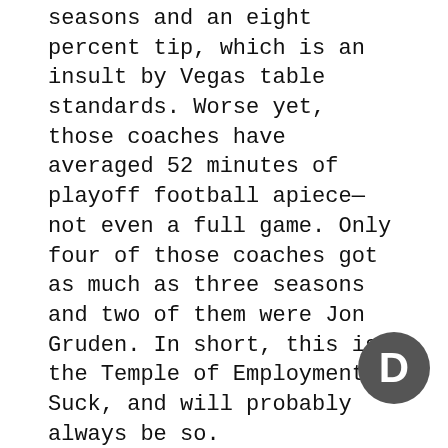seasons and an eight percent tip, which is an insult by Vegas table standards. Worse yet, those coaches have averaged 52 minutes of playoff football apiece—not even a full game. Only four of those coaches got as much as three seasons and two of them were Jon Gruden. In short, this is the Temple of Employment Suck, and will probably always be so.
But Bisaccia hasn't sucked, at least not yet. Better still, he has brought a rare gift to the job that has always been grossly undervalued at Swords Through The Face, Inc.: normalcy.
Bisaccia came in to replace Emperor Gruden II after the latter's emails from the 1956 part of his brain were unearthed as part of the Bruce Allen/Dan Snyder archives currently under 24-hour
[Figure (logo): Circular dark grey logo with white letter D]